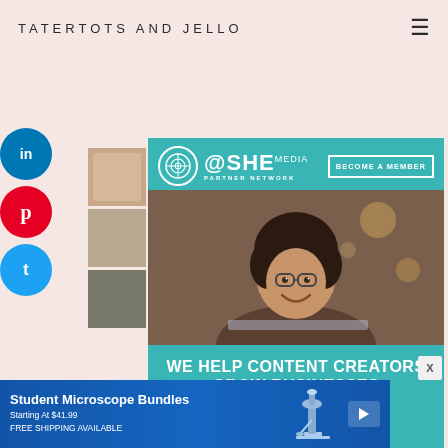TATERTOTS AND JELLO
[Figure (screenshot): SHE Media Partner Network advertisement overlay. Teal/turquoise background with 'SHE MEDIA PARTNER NETWORK' logo, 'BECOME A MEMBER' button, photo of smiling woman with glasses using laptop, tagline 'WE HELP CONTENT CREATORS GROW BUSINESSES THROUGH...' and 'LEARN MORE' button.]
WEEN
CAN
WITH
L
PES!
ON
AN ALASKAN CRUISE!
AS SEEN IN
[Figure (screenshot): Bottom advertisement banner for Student Microscope Bundles. Blue background with white text. Title: 'Student Microscope Bundles', subtitle: 'Starting At $41.99', 'FREE SHIPPING AVAILABLE'. Microscope image on right side. Play button icon.]